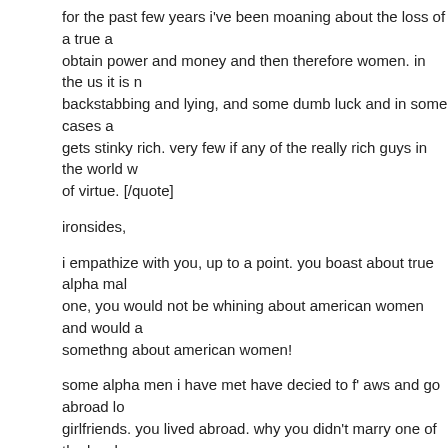for the past few years i've been moaning about the loss of a true a obtain power and money and then therefore women. in the us it is n backstabbing and lying, and some dumb luck and in some cases a gets stinky rich. very few if any of the really rich guys in the world w of virtue. [/quote]
ironsides,
i empathize with you, up to a point. you boast about true alpha mal one, you would not be whining about american women and would a somethng about american women!
some alpha men i have met have decied to f' aws and go abroad lo girlfriends. you lived abroad. why you didn't marry one of the locals here and deal with aw bs is beyond me. you need to completely for potential partners and look to foreign women as wife material.
George90
[QUOTE=Mike12]It's a damn shame when you can go about your b single sign of human recognition, greeting, or smile from a female h pertains to money or getting something from you. Everyone gets th being, even the homeless are cool if you just acknowledge their ex females (young attractive 23-39) "cant seem to get out of their own Hitch said, and get on with life and respect people.[/QUOTE]